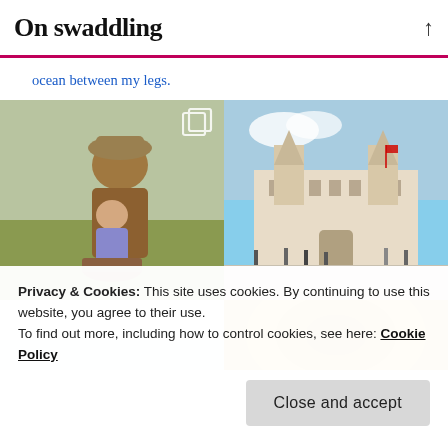On swaddling
ocean between my legs.
[Figure (photo): Two-image photo collage: left photo shows a man and young child sitting on a rocking horse toy outdoors in a vintage/retro style photo; right photo shows a large ornate historic building (resembling a European palace or city hall) with people in the square in front of it on a sunny day. Below left is a partial view of a white surface/table. Below right is a partial view of a yellow circular object.]
Privacy & Cookies: This site uses cookies. By continuing to use this website, you agree to their use.
To find out more, including how to control cookies, see here: Cookie Policy
Close and accept